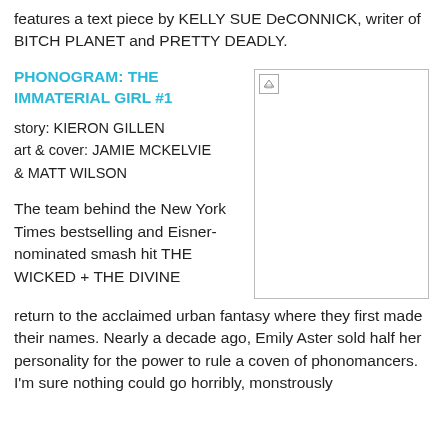features a text piece by KELLY SUE DeCONNICK, writer of BITCH PLANET and PRETTY DEADLY.
PHONOGRAM: THE IMMATERIAL GIRL #1
story: KIERON GILLEN
art & cover: JAMIE MCKELVIE & MATT WILSON
[Figure (photo): Comic book cover image placeholder]
The team behind the New York Times bestselling and Eisner-nominated smash hit THE WICKED + THE DIVINE return to the acclaimed urban fantasy where they first made their names. Nearly a decade ago, Emily Aster sold half her personality for the power to rule a coven of phonomancers. I'm sure nothing could go horribly, monstrously